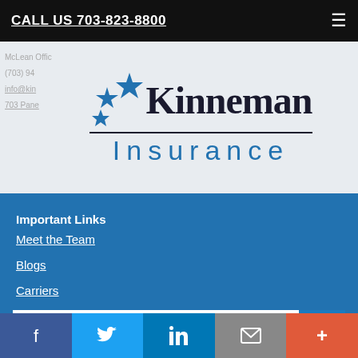CALL US 703-823-8800
[Figure (logo): Kinneman Insurance logo with blue stars and company name in serif/sans-serif combination]
Important Links
Meet the Team
Blogs
Carriers
[Figure (screenshot): Search bar with text input and blue search button with magnifying glass icon]
[Figure (infographic): Social media buttons bar: Facebook, Twitter, LinkedIn, Email, and More (+)]